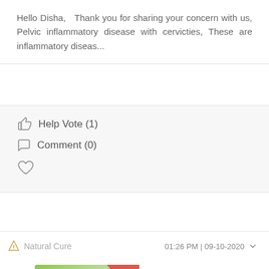Hello Disha, Thank you for sharing your concern with us, Pelvic inflammatory disease with cervicties, These are inflammatory diseas...
Help Vote (1)
Comment (0)
Natural Cure   01:26 PM | 09-10-2020
[Figure (illustration): Wellcure brand banner showing a bowl of salad greens on the left, Wellcure sun logo on the right, a green 'VIDEO RECORDINGS' badge in the center, and red text 'Food & Nutrition' at the bottom. Red curved stripe decoration running diagonally.]